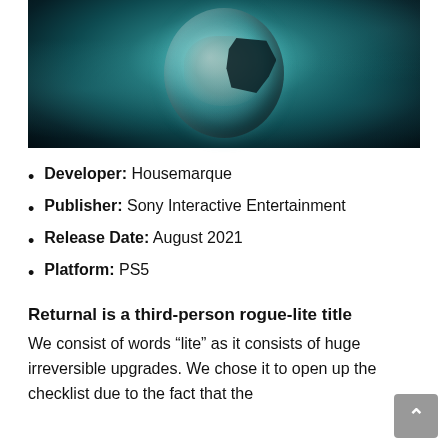[Figure (photo): A cracked astronaut helmet with a face visible behind it, set against a dark teal/blue-green atmospheric background]
Developer: Housemarque
Publisher: Sony Interactive Entertainment
Release Date: August 2021
Platform: PS5
Returnal is a third-person rogue-lite title
We consist of words “lite” as it consists of huge irreversible upgrades. We chose it to open up the checklist due to the fact that the